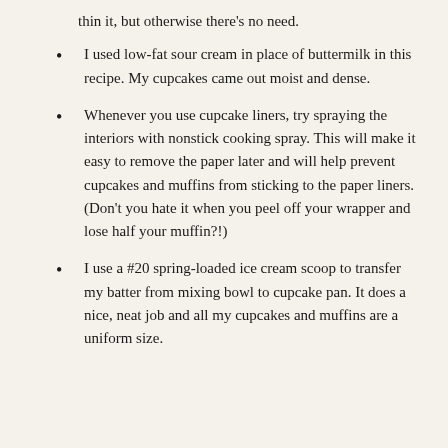thin it, but otherwise there's no need.
I used low-fat sour cream in place of buttermilk in this recipe. My cupcakes came out moist and dense.
Whenever you use cupcake liners, try spraying the interiors with nonstick cooking spray. This will make it easy to remove the paper later and will help prevent cupcakes and muffins from sticking to the paper liners. (Don't you hate it when you peel off your wrapper and lose half your muffin?!)
I use a #20 spring-loaded ice cream scoop to transfer my batter from mixing bowl to cupcake pan. It does a nice, neat job and all my cupcakes and muffins are a uniform size.